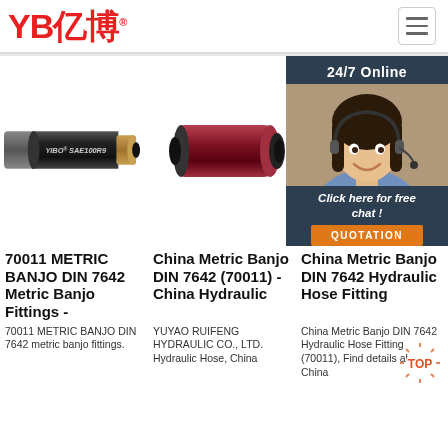YB亿博 logo and navigation
[Figure (photo): Black hydraulic hose labeled YIBO SAE100R9]
[Figure (photo): Red/maroon hydraulic hose end section]
[Figure (photo): 24/7 Online customer service agent with chat panel and QUOTATION button]
70011 METRIC BANJO DIN 7642 Metric Banjo Fittings -
China Metric Banjo DIN 7642 (70011) - China Hydraulic
China Metric Banjo DIN 7642 Hydraulic Hose Fitting
70011 METRIC BANJO DIN 7642 metric banjo fittings.
YUYAO RUIFENG HYDRAULIC CO., LTD. Hydraulic Hose, China
China Metric Banjo DIN 7642 Hydraulic Hose Fitting (70011), Find details about China